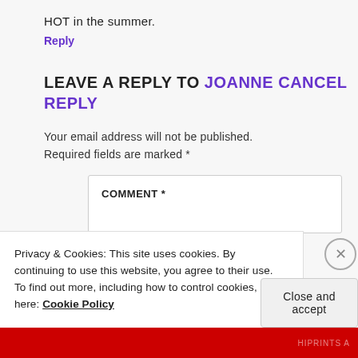HOT in the summer.
Reply
LEAVE A REPLY TO JOANNE CANCEL REPLY
Your email address will not be published. Required fields are marked *
COMMENT *
Privacy & Cookies: This site uses cookies. By continuing to use this website, you agree to their use. To find out more, including how to control cookies, see here: Cookie Policy
Close and accept